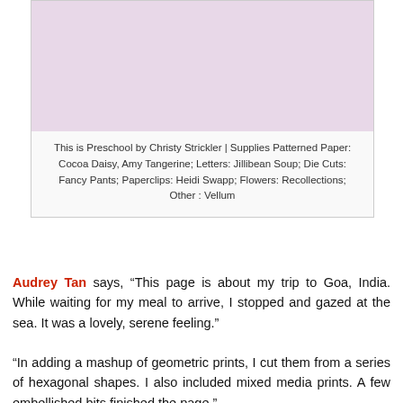[Figure (photo): Scrapbook layout titled 'This is Preschool' by Christy Strickler, showing colorful geometric patterned papers and photos of a child.]
This is Preschool by Christy Strickler | Supplies Patterned Paper: Cocoa Daisy, Amy Tangerine; Letters: Jillibean Soup; Die Cuts: Fancy Pants; Paperclips: Heidi Swapp; Flowers: Recollections; Other : Vellum
Audrey Tan says, “This page is about my trip to Goa, India. While waiting for my meal to arrive, I stopped and gazed at the sea. It was a lovely, serene feeling.”
“In adding a mashup of geometric prints, I cut them from a series of hexagonal shapes. I also included mixed media prints. A few embellished bits finished the page.”